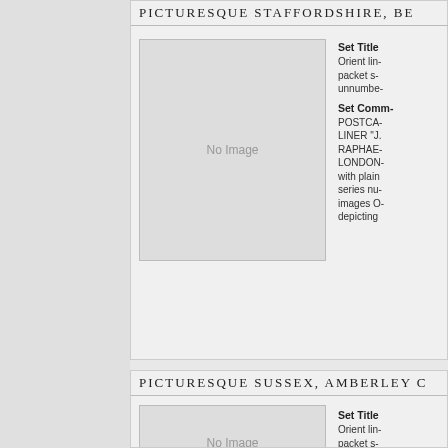PICTURESQUE STAFFORDSHIRE, BE...
[Figure (photo): No Image placeholder for postcard set image]
Set Title
Orient lin- packet s- unnumbe-
Set Comm-
POSTCA- LINER ". RAPHAE- LONDON- with plain series nu- images O- depicting
PICTURESQUE SUSSEX, AMBERLEY C...
[Figure (photo): No Image placeholder for postcard set image]
Set Title
Orient lin- packet s- unnumbe-
Set Comp-